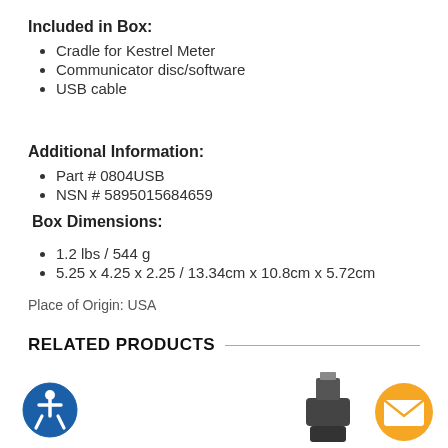Included in Box:
Cradle for Kestrel Meter
Communicator disc/software
USB cable
Additional Information:
Part # 0804USB
NSN # 5895015684659
Box Dimensions:
1.2 lbs / 544 g
5.25 x 4.25 x 2.25 / 13.34cm x 10.8cm x 5.72cm
Place of Origin: USA
RELATED PRODUCTS
[Figure (photo): Accessibility icon (person in circle) and a USB dongle product thumbnail at the bottom of the page, with an orange email/contact button on the right.]